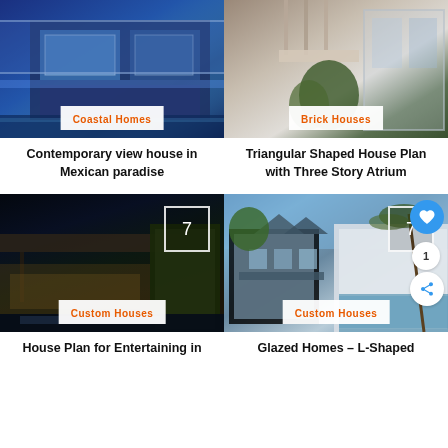[Figure (photo): Contemporary modern house with blue lighting and open floor plan, Coastal Homes category]
Coastal Homes
Contemporary view house in Mexican paradise
[Figure (photo): Triangular shaped building with glass and brick exterior and atrium, Brick Houses category]
Brick Houses
Triangular Shaped House Plan with Three Story Atrium
[Figure (photo): Modern house at night with illuminated interior and green wall, Custom Houses category, image count 7]
Custom Houses
House Plan for Entertaining in
[Figure (photo): L-shaped glazed terrace houses with pool and Victorian architecture, Custom Houses category, image count 7, 1 like]
Custom Houses
Glazed Homes – L-Shaped